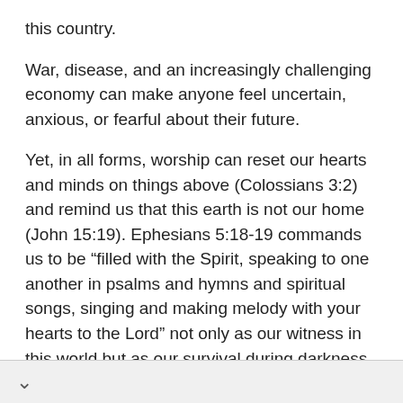this country.
War, disease, and an increasingly challenging economy can make anyone feel uncertain, anxious, or fearful about their future.
Yet, in all forms, worship can reset our hearts and minds on things above (Colossians 3:2) and remind us that this earth is not our home (John 15:19). Ephesians 5:18-19 commands us to be “filled with the Spirit, speaking to one another in psalms and hymns and spiritual songs, singing and making melody with your hearts to the Lord” not only as our witness in this world but as our survival during darkness. Psalms, hymns, and spiritual songs that reinforce God’s unchanging love and faithfulness,
reinforce God’s unchanging love and faithfulness,